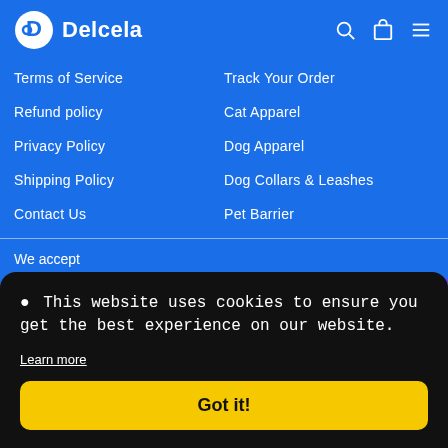Delcela
Terms of Service
Refund policy
Privacy Policy
Shipping Policy
Contact Us
Track Your Order
Cat Apparel
Dog Apparel
Dog Collars & Leashes
Pet Barrier
We accept
This website uses cookies to ensure you get the best experience on our website. Learn more Got it!